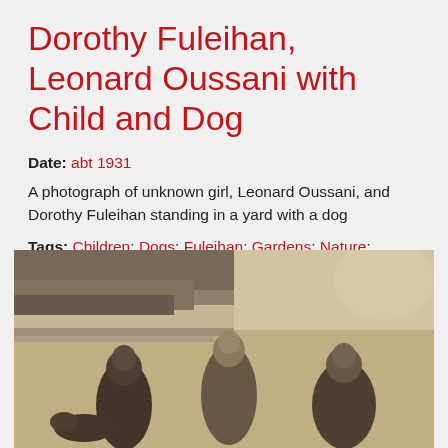Dorothy Fuleihan, Leonard Oussani with Child and Dog
Date: abt 1931
A photograph of unknown girl, Leonard Oussani, and Dorothy Fuleihan standing in a yard with a dog
Tags: Children; Dogs; Fuleihan; Gardens; Nature; Oussani
[Figure (photo): A sepia-toned vintage photograph showing three people (including a child) and a dog standing in a yard with foliage in the background, circa 1931.]